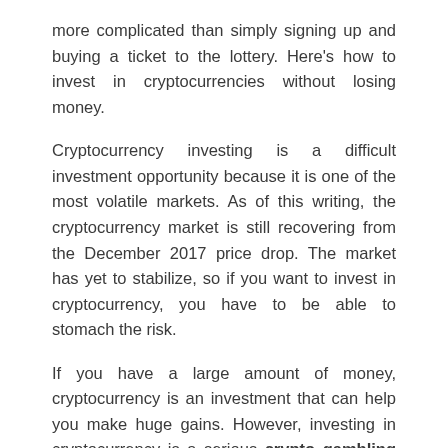more complicated than simply signing up and buying a ticket to the lottery. Here's how to invest in cryptocurrencies without losing money.
Cryptocurrency investing is a difficult investment opportunity because it is one of the most volatile markets. As of this writing, the cryptocurrency market is still recovering from the December 2017 price drop. The market has yet to stabilize, so if you want to invest in cryptocurrency, you have to be able to stomach the risk.
If you have a large amount of money, cryptocurrency is an investment that can help you make huge gains. However, investing in cryptocurrency is a serious crypto gambling as you can see from the volatility, you could lose your entire investment.
For example, on the 14th of January 2018, the price of